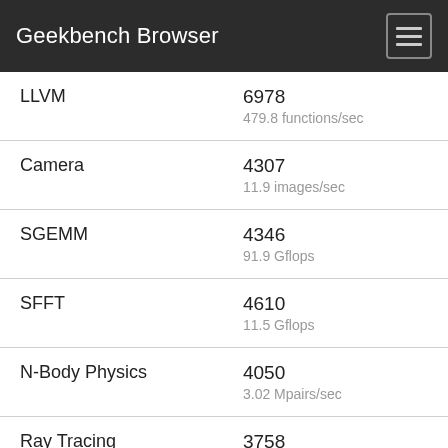Geekbench Browser
| Test | Score |
| --- | --- |
| LLVM | 6978
479.8 functions/sec |
| Camera | 4307
11.9 images/sec |
| SGEMM | 4346
91.9 Gflops |
| SFFT | 4610
11.5 Gflops |
| N-Body Physics | 4050
3.02 Mpairs/sec |
| Ray Tracing | 3758
548.9 Kpixels/sec |
| Rigid Body Physics | 4660
13643.1 FPS |
| HDR | 4761
17.3 Mpixels/sec |
| Gaussian Blur | 4274
... |